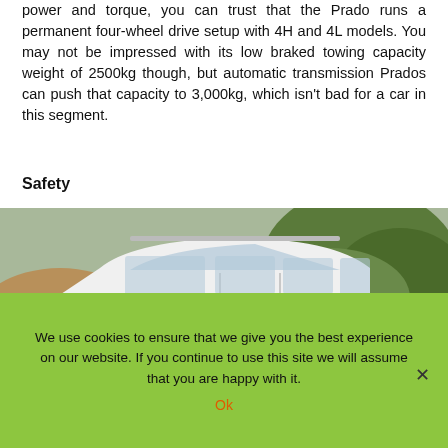power and torque, you can trust that the Prado runs a permanent four-wheel drive setup with 4H and 4L models. You may not be impressed with its low braked towing capacity weight of 2500kg though, but automatic transmission Prados can push that capacity to 3,000kg, which isn't bad for a car in this segment.
Safety
[Figure (photo): White Toyota Land Cruiser Prado SUV photographed outdoors on rocky terrain with trees in the background. The front badge and 'LAND CRUISER PRADO' text visible on the front bumper.]
We use cookies to ensure that we give you the best experience on our website. If you continue to use this site we will assume that you are happy with it.
Ok